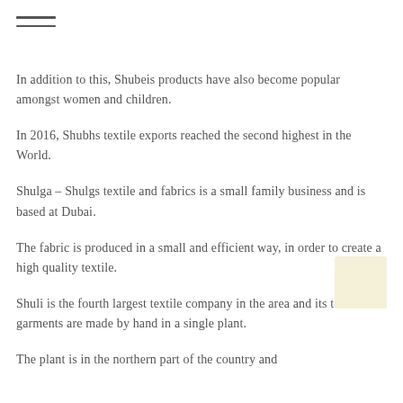[Figure (other): Hamburger menu icon with two horizontal lines]
In addition to this, Shubeis products have also become popular amongst women and children.
In 2016, Shubhs textile exports reached the second highest in the World.
Shulga – Shulgs textile and fabrics is a small family business and is based at Dubai.
The fabric is produced in a small and efficient way, in order to create a high quality textile.
Shuli is the fourth largest textile company in the area and its textile and garments are made by hand in a single plant.
The plant is in the northern part of the country and